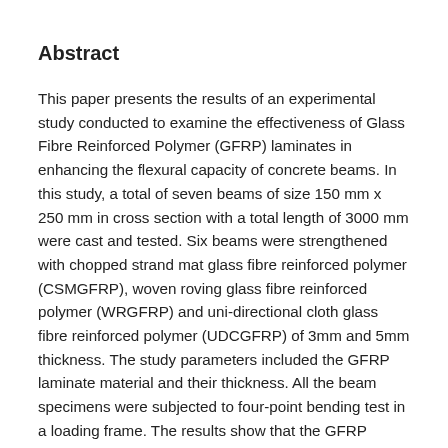Abstract
This paper presents the results of an experimental study conducted to examine the effectiveness of Glass Fibre Reinforced Polymer (GFRP) laminates in enhancing the flexural capacity of concrete beams. In this study, a total of seven beams of size 150 mm x 250 mm in cross section with a total length of 3000 mm were cast and tested. Six beams were strengthened with chopped strand mat glass fibre reinforced polymer (CSMGFRP), woven roving glass fibre reinforced polymer (WRGFRP) and uni-directional cloth glass fibre reinforced polymer (UDCGFRP) of 3mm and 5mm thickness. The study parameters included the GFRP laminate material and their thickness. All the beam specimens were subjected to four-point bending test in a loading frame. The results show that the GFRP strengthened beams exhibit increased strength, deformation capacity, ductility and composite action until failure.